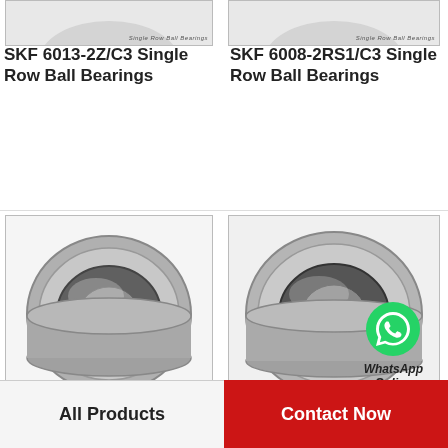[Figure (photo): Partial top view of ball bearing product - left column, cropped]
[Figure (photo): Partial top view of ball bearing product - right column, cropped]
SKF 6013-2Z/C3 Single Row Ball Bearings
SKF 6008-2RS1/C3 Single Row Ball Bearings
[Figure (photo): SKF 6312 NR single row ball bearing, metallic, front view on white background]
[Figure (photo): SKF 6304-2RSH/C3 single row ball bearing with WhatsApp Online overlay]
60 mm x 130 mm x 31 mm SKF 6312 NR Single Ro…
SKF 6304-2RSH/C3 Single Row Ball Bearings
[Figure (photo): Partial bottom strip of next product row - left]
[Figure (photo): Partial bottom strip of next product row - right]
All Products
Contact Now